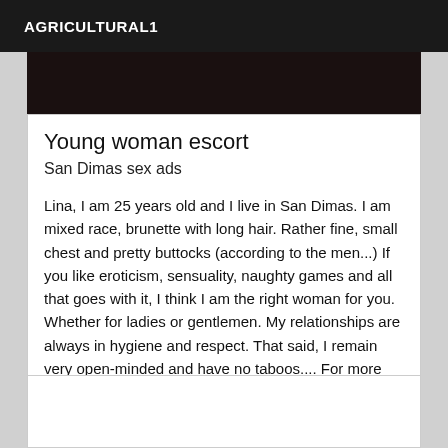AGRICULTURAL1
[Figure (photo): Dark/shadowy photograph strip at top of listing card]
Young woman escort
San Dimas sex ads
Lina, I am 25 years old and I live in San Dimas. I am mixed race, brunette with long hair. Rather fine, small chest and pretty buttocks (according to the men...) If you like eroticism, sensuality, naughty games and all that goes with it, I think I am the right woman for you. Whether for ladies or gentlemen. My relationships are always in hygiene and respect. That said, I remain very open-minded and have no taboos.... For more details, pictures and conditions, I invite you to come and contact me. 1st exchange by email if possible... See you soon :)